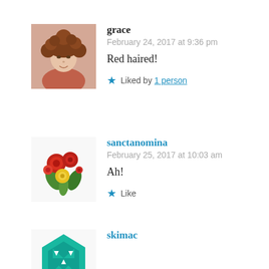[Figure (photo): Avatar photo of user 'grace' — woman with curly red/brown hair]
grace
February 24, 2017 at 9:36 pm

Red haired!

★ Liked by 1 person
[Figure (illustration): Avatar image for 'sanctanomina' — floral bouquet with red roses and yellow flower]
sanctanomina
February 25, 2017 at 10:03 am

Ah!

★ Like
[Figure (illustration): Avatar image for 'skimac' — stylized teal/green geometric owl or mask icon]
skimac